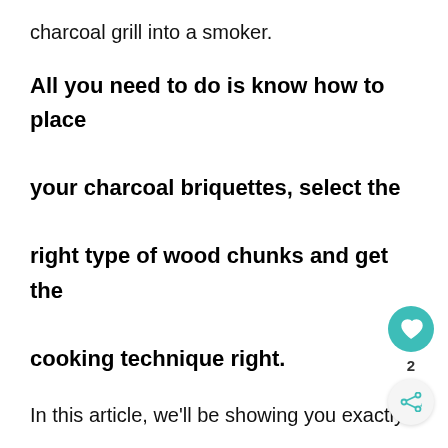charcoal grill into a smoker.
All you need to do is know how to place your charcoal briquettes, select the right type of wood chunks and get the cooking technique right.
In this article, we'll be showing you exactly what you'll need.
As well as the steps you need to take to